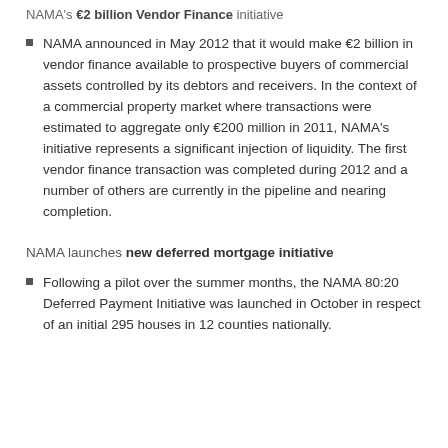NAMA's €2 billion Vendor Finance initiative
NAMA announced in May 2012 that it would make €2 billion in vendor finance available to prospective buyers of commercial assets controlled by its debtors and receivers. In the context of a commercial property market where transactions were estimated to aggregate only €200 million in 2011, NAMA's initiative represents a significant injection of liquidity. The first vendor finance transaction was completed during 2012 and a number of others are currently in the pipeline and nearing completion.
NAMA launches new deferred mortgage initiative
Following a pilot over the summer months, the NAMA 80:20 Deferred Payment Initiative was launched in October in respect of an initial 295 houses in 12 counties nationally.